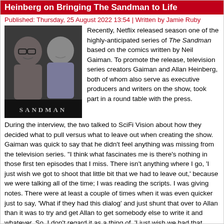Heinberg on Bringing The Sandman to Life
Published: Thursday, 25 August 2022 13:54 | Written by Jamie Ruby
[Figure (photo): Two men posing in front of a Sandman backdrop; sandman logo visible at the bottom.]
Recently, Netflix released season one of the highly-anticipated series of The Sandman based on the comics written by Neil Gaiman. To promote the release, television series creators Gaiman and Allan Heinberg, both of whom also serve as executive producers and writers on the show, took part in a round table with the press.
During the interview, the two talked to SciFi Vision about how they decided what to pull versus what to leave out when creating the show. Gaiman was quick to say that he didn't feel anything was missing from the television series. “I think what fascinates me is there’s nothing in those first ten episodes that I miss. There isn't anything where I go, ‘I just wish we got to shoot that little bit that we had to leave out,’ because we were talking all of the time; I was reading the scripts. I was giving notes. There were at least a couple of times when it was even quicker just to say, ‘What if they had this dialog’ and just shunt that over to Allan than it was to try and get Allan to get somebody else to write it and whatever. So, I don’t regard it as a thing of, ‘I just wish we had that scene; I wish we shot that scene.’ It’s much more a thing of going, ‘I think we’ve made the television version.’ Sometimes we expand; sometimes we condense.”
Some of the producers and others have been one of the key focus areas...